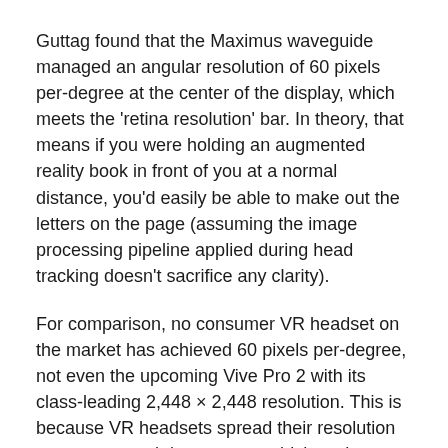Guttag found that the Maximus waveguide managed an angular resolution of 60 pixels per-degree at the center of the display, which meets the 'retina resolution' bar. In theory, that means if you were holding an augmented reality book in front of you at a normal distance, you'd easily be able to make out the letters on the page (assuming the image processing pipeline applied during head tracking doesn't sacrifice any clarity).
For comparison, no consumer VR headset on the market has achieved 60 pixels per-degree, not even the upcoming Vive Pro 2 with its class-leading 2,448 × 2,448 resolution. This is because VR headsets spread their resolution out over a much larger area, which trades angular resolution in favor of a wider field-of-view.
Brightness